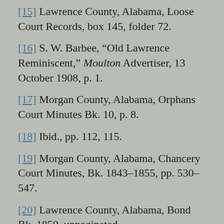[15] Lawrence County, Alabama, Loose Court Records, box 145, folder 72.
[16] S. W. Barbee, “Old Lawrence Reminiscent,” Moulton Advertiser, 13 October 1908, p. 1.
[17] Morgan County, Alabama, Orphans Court Minutes Bk. 10, p. 8.
[18] Ibid., pp. 112, 115.
[19] Morgan County, Alabama, Chancery Court Minutes, Bk. 1843–1855, pp. 530–547.
[20] Lawrence County, Alabama, Bond Bk. 1850, unpaginated.
[21] Lawrence County, Alabama, 1850 federal